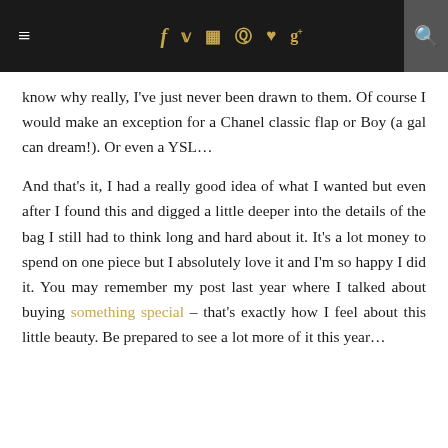≡  f  𝕥  ▣  ⊕  ♥  g+  🔍
know why really, I've just never been drawn to them. Of course I would make an exception for a Chanel classic flap or Boy (a gal can dream!). Or even a YSL…
And that's it, I had a really good idea of what I wanted but even after I found this and digged a little deeper into the details of the bag I still had to think long and hard about it. It's a lot money to spend on one piece but I absolutely love it and I'm so happy I did it. You may remember my post last year where I talked about buying something special – that's exactly how I feel about this little beauty. Be prepared to see a lot more of it this year…